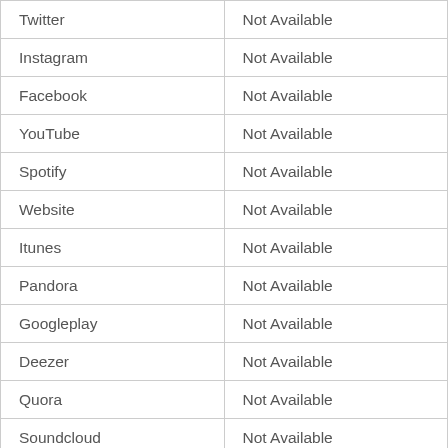| Platform | Status |
| --- | --- |
| Twitter | Not Available |
| Instagram | Not Available |
| Facebook | Not Available |
| YouTube | Not Available |
| Spotify | Not Available |
| Website | Not Available |
| Itunes | Not Available |
| Pandora | Not Available |
| Googleplay | Not Available |
| Deezer | Not Available |
| Quora | Not Available |
| Soundcloud | Not Available |